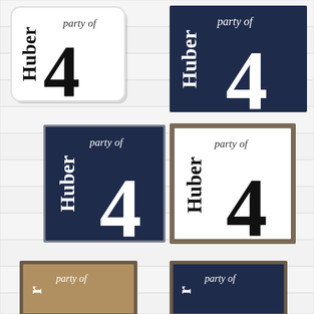[Figure (photo): Six decorative family name signs reading 'Huber party of 4' in various color combinations: white with black text (rounded frame), navy blue frameless, navy blue with silver frame, white with wood frame, gold/tan with wood frame (partial, bottom left), and navy blue with wood frame (partial, bottom right). Signs are displayed on a white shiplap wall background in a 2x3 grid arrangement.]